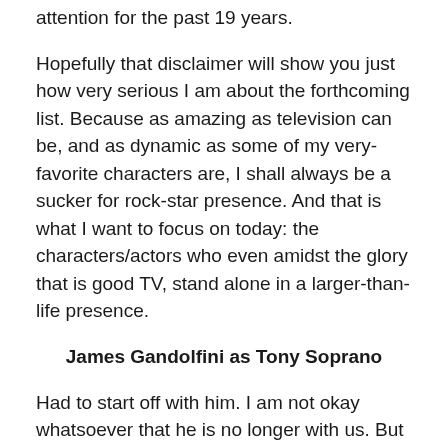attention for the past 19 years.
Hopefully that disclaimer will show you just how very serious I am about the forthcoming list. Because as amazing as television can be, and as dynamic as some of my very-favorite characters are, I shall always be a sucker for rock-star presence. And that is what I want to focus on today: the characters/actors who even amidst the glory that is good TV, stand alone in a larger-than-life presence.
James Gandolfini as Tony Soprano
Had to start off with him. I am not okay whatsoever that he is no longer with us. But I am so grateful for his multi-year commitment to embodying Tony Soprano. “The Sopranos” was so not my flavor, in terms of what I’d seek to watch whilst living single. But damn if it didn’t grab me by the